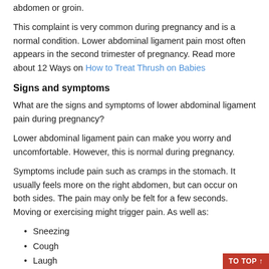abdomen or groin.
This complaint is very common during pregnancy and is a normal condition. Lower abdominal ligament pain most often appears in the second trimester of pregnancy. Read more about 12 Ways on How to Treat Thrush on Babies
Signs and symptoms
What are the signs and symptoms of lower abdominal ligament pain during pregnancy?
Lower abdominal ligament pain can make you worry and uncomfortable. However, this is normal during pregnancy.
Symptoms include pain such as cramps in the stomach. It usually feels more on the right abdomen, but can occur on both sides. The pain may only be felt for a few seconds. Moving or exercising might trigger pain. As well as:
Sneezing
Cough
Laugh